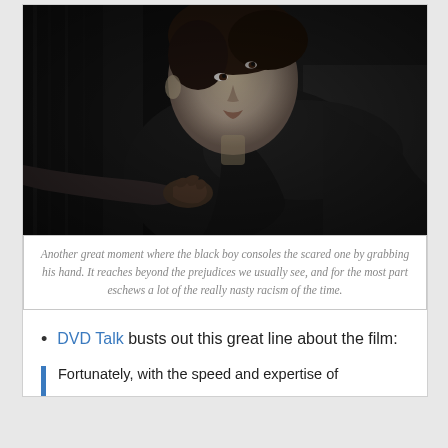[Figure (photo): Black and white photograph of a young person reclining and looking upward, with a hand reaching in from the left side to hold or console them. Dark, moody lighting.]
Another great moment where the black boy consoles the scared one by grabbing his hand. It reaches beyond the prejudices we usually see, and for the most part eschews a lot of the really nasty racism of the time.
DVD Talk busts out this great line about the film:
Fortunately, with the speed and expertise of